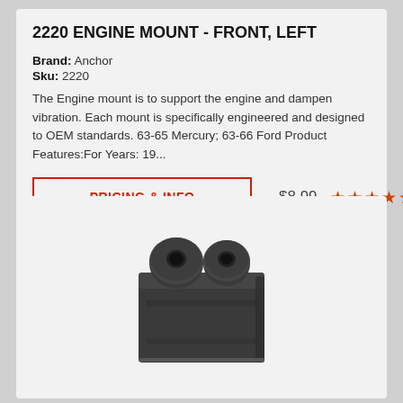2220 ENGINE MOUNT - FRONT, LEFT
Brand: Anchor
Sku: 2220
The Engine mount is to support the engine and dampen vibration. Each mount is specifically engineered and designed to OEM standards. 63-65 Mercury; 63-66 Ford Product Features:For Years: 19...
PRICING & INFO
$8.99
[Figure (photo): Photo of an engine mount part (2220), a black rubber and metal component with two circular mounting holes on top and a rectangular body.]